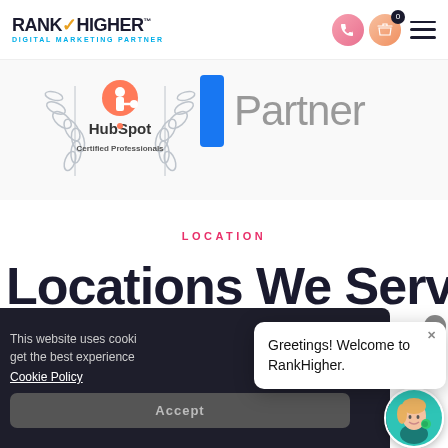[Figure (logo): RankHigher Digital Marketing Partner logo with checkmark icon]
[Figure (logo): Navigation icons: phone button, cart button with badge 0, hamburger menu]
[Figure (logo): HubSpot Certified Professionals badge with laurel wreath]
[Figure (logo): Facebook Partner logo with blue rectangle icon and 'Partner' text]
LOCATION
Locations We Serve
This website uses cooki... get the best experience...
Cookie Policy
Accept
Greetings! Welcome to RankHigher.